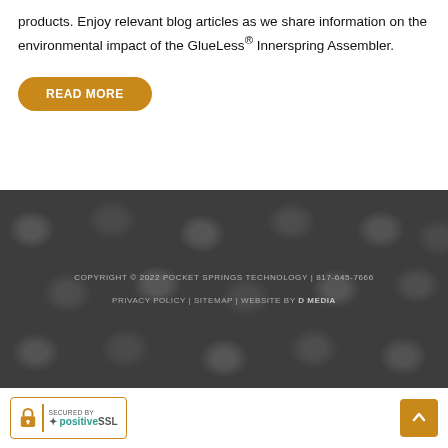products. Enjoy relevant blog articles as we share information on the environmental impact of the GlueLess® Innerspring Assembler.
READ MORE
[Figure (photo): Close-up photograph of dark grey pocket springs/coils from a mattress innerspring assembler, forming a repeating pattern of rounded fabric-wrapped coils.]
COPYRIGHT © 2022 POCKET SPRINGS TECHNOLOGY | 817-645-7666
PRIVACY POLICY | SITEMAP | WEBSITE BY D MEDIA
[Figure (logo): Secured by PositiveSSL badge — lock icon, divider, and PositiveSSL text in teal/green]
[Figure (other): Back to top button — golden/amber square with upward chevron arrow]